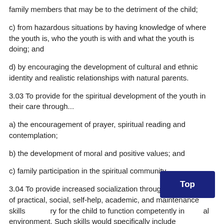family members that may be to the detriment of the child;
c) from hazardous situations by having knowledge of where the youth is, who the youth is with and what the youth is doing; and
d) by encouraging the development of cultural and ethnic identity and realistic relationships with natural parents.
3.03 To provide for the spiritual development of the youth in their care through...
a) the encouragement of prayer, spiritual reading and contemplation;
b) the development of moral and positive values; and
c) family participation in the spiritual community.
3.04 To provide increased socialization through the teaching of practical, social, self-help, academic, and maintenance skills necessary for the child to function competently in a social environment. Such skills would specifically include assertiveness, dating, studying, accepting